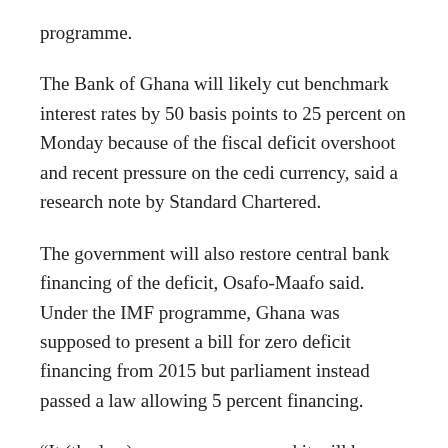programme.
The Bank of Ghana will likely cut benchmark interest rates by 50 basis points to 25 percent on Monday because of the fiscal deficit overshoot and recent pressure on the cedi currency, said a research note by Standard Chartered.
The government will also restore central bank financing of the deficit, Osafo-Maafo said. Under the IMF programme, Ghana was supposed to present a bill for zero deficit financing from 2015 but parliament instead passed a law allowing 5 percent financing.
“It (the law) was unnecessary and it will be reviewed,” Osafo-Maafo, a former finance minister said.
He said the government will continue to borrow “in a better